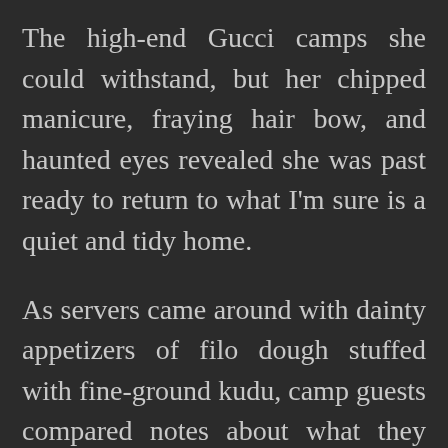The high-end Gucci camps she could withstand, but her chipped manicure, fraying hair bow, and haunted eyes revealed she was past ready to return to what I'm sure is a quiet and tidy home.
As servers came around with dainty appetizers of filo dough stuffed with fine-ground kudu, camp guests compared notes about what they had seen on the day's game drive. I enthusiastically told people at my end of the table how we'd seen maggots dripping and oozing from an elephant's head, making sure to describe the stench as accurately as I